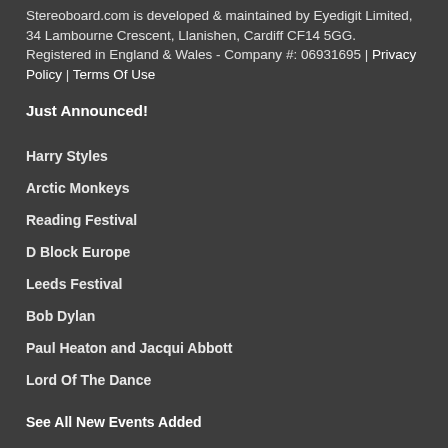Stereoboard.com is developed & maintained by Eyedigit Limited, 34 Lambourne Crescent, Llanishen, Cardiff CF14 5GG. Registered in England & Wales - Company #: 06931695 | Privacy Policy | Terms Of Use
Just Announced!
Harry Styles
Arctic Monkeys
Reading Festival
D Block Europe
Leeds Festival
Bob Dylan
Paul Heaton and Jacqui Abbott
Lord Of The Dance
See All New Events Added